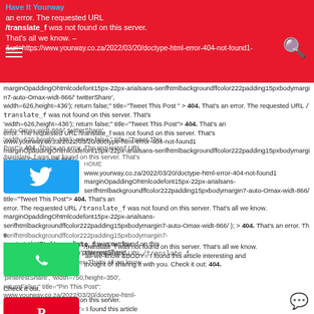Have It Yourway — an error. The requested URL /translate_f was not found on this server. That's all we know.
&url=https://www.yourway.co.za/2022/03/20/doctype-html-error-404-not-found1-margin0padding0htmlcodefont15px-22px-arialsans-serifhtmlbackgroundffcolor222padding15pxbodymargin7-auto-0max-widt-866/   'twitterShare', 'width=626,height=436'); return false;" title="Tweet This Post" > 404. That's an error. The requested URL /translate_f was not found on this server. That's
&url=https://www.yourway.co.za/2022/03/20/doctype-html-error-404-not-found1-margin0padding0htmlcodefont15px-22px-arialsans-serifhtmlbackgroundffcolor222padding15pxbodymargin7-auto-0max-widt-866/   'twitterShare', 'width=626,height=436'); return false;" title="Tweet This Post" > 404. That's an error. The requested URL /translate_f was not found on this server. That's all we know.
[Figure (screenshot): Twitter share button (blue bird icon)]
title="Tweet This Post"> 404. That's an error. The requested URL /translate_f was not found on this server. That's all we know. https://www.yourway.co.za/2022/03/20/doctype-html-error-404-not-found1-margin0padding0htmlcodefont15px-22px-arialsans-serifhtmlbackgroundffcolor222padding15pxbodymargin7-auto-0max-widt-866/ ); > 404. That's an error. The requested URL /translate_f was not found on this server. That's all we know. 'pinterestShare', 'width=750,height=350'); return false; title="Pin This Post"> 404. That's an error. The requested URL /translate_f was not found on this server. That's all we know. &BODY= I found this article interesting and thought of sharing it with you. Check it out: 404. That's an error. The requested URL /translate_f was not found on this server. That's all we know.
[Figure (screenshot): WhatsApp share button (green phone icon)]
'pinterestShare', 'width=750,height=350'); return false; title="Pin This Post"> 404. That's an error. The requested URL /translate_f was not found on this server. That's all we know. &BODY= I found this article interesting and thought of sharing it with you. Check it out: 404. www.yourway.co.za/2022/03/20/doctype-html-error-404-not-found1 margin0padding0htmlcodefont15px-22px-arialsans-serifhtmlbackgroundffcolor222padding15pxbodymargin7-auto-0max-widt-866/
[Figure (screenshot): Pinterest share button (red P icon)]
/translate_f was not found on this server. That's all we know. &BODY= I found this article interesting and thought of sharing it with you. Check it out: